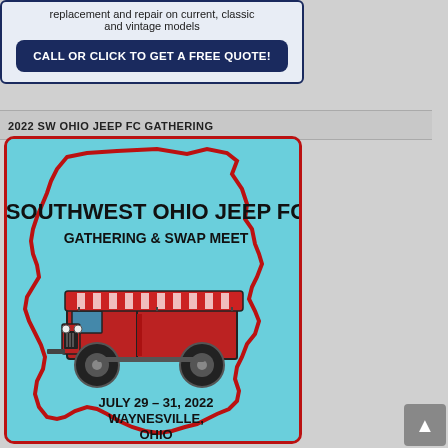replacement and repair on current, classic and vintage models
CALL OR CLICK TO GET A FREE QUOTE!
2022 SW OHIO JEEP FC GATHERING
[Figure (illustration): Southwest Ohio Jeep FC Gathering & Swap Meet event logo. Shows the outline of the state of Ohio in light blue with a red border, containing a red Jeep FC truck with a striped canopy top, and text reading: SOUTHWEST OHIO JEEP FC, GATHERING & SWAP MEET, JULY 29-31, 2022, WAYNESVILLE, OHIO]